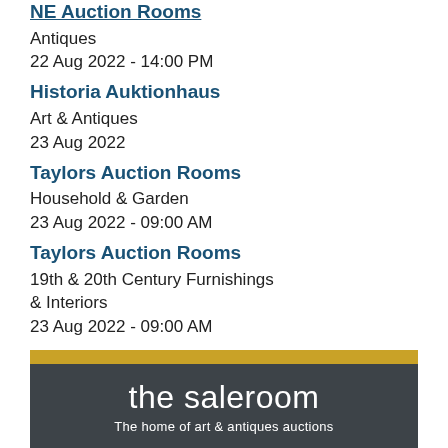NE Auction Rooms (truncated at top)
Antiques
22 Aug 2022 - 14:00 PM
Historia Auktionhaus
Art & Antiques
23 Aug 2022
Taylors Auction Rooms
Household & Garden
23 Aug 2022 - 09:00 AM
Taylors Auction Rooms
19th & 20th Century Furnishings & Interiors
23 Aug 2022 - 09:00 AM
[Figure (logo): the saleroom - The home of art & antiques auctions logo with gold stripe and dark grey background]